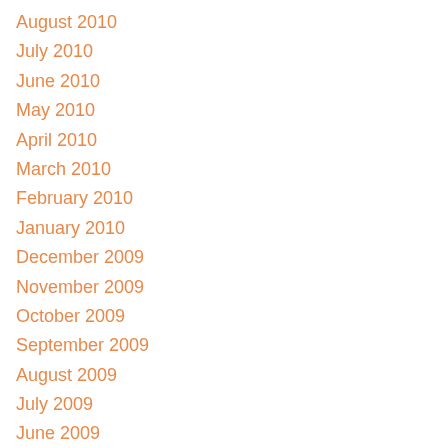August 2010
July 2010
June 2010
May 2010
April 2010
March 2010
February 2010
January 2010
December 2009
November 2009
October 2009
September 2009
August 2009
July 2009
June 2009
May 2009
April 2009
February 2009
January 2009
December 2008